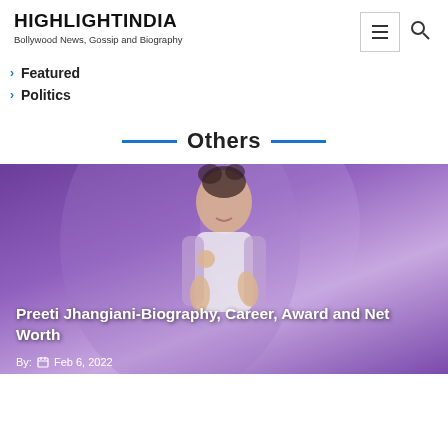HIGHLIGHTINDIA
Bollywood News, Gossip and Biography
Featured
Politics
Others
[Figure (photo): Woman posing against a purple background, smiling, wearing a white top and lavender jacket with hair up]
Preeti Jhangiani-Biography, Career, Award and Net Worth
By:   Feb 6, 2022